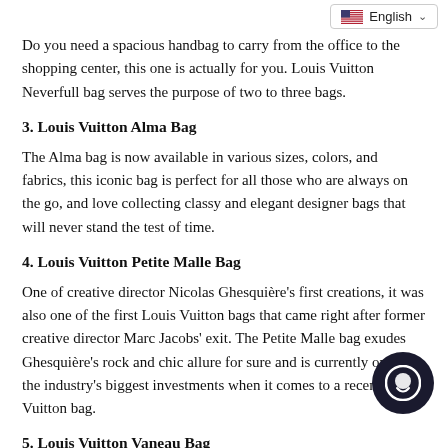[Figure (other): Language selector dropdown showing US flag and 'English' with chevron]
Do you need a spacious handbag to carry from the office to the shopping center, this one is actually for you. Louis Vuitton Neverfull bag serves the purpose of two to three bags.
3. Louis Vuitton Alma Bag
The Alma bag is now available in various sizes, colors, and fabrics, this iconic bag is perfect for all those who are always on the go, and love collecting classy and elegant designer bags that will never stand the test of time.
4. Louis Vuitton Petite Malle Bag
One of creative director Nicolas Ghesquière's first creations, it was also one of the first Louis Vuitton bags that came right after former creative director Marc Jacobs' exit. The Petite Malle bag exudes Ghesquière's rock and chic allure for sure and is currently one of the industry's biggest investments when it comes to a recent Louis Vuitton bag.
5. Louis Vuitton Vaneau Bag